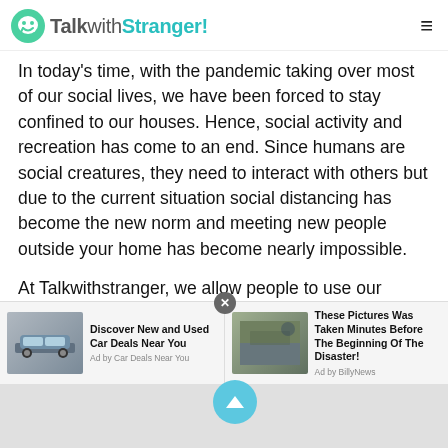TalkwithStranger!
In today's time, with the pandemic taking over most of our social lives, we have been forced to stay confined to our houses. Hence, social activity and recreation has come to an end. Since humans are social creatures, they need to interact with others but due to the current situation social distancing has become the new norm and meeting new people outside your home has become nearly impossible.
At Talkwithstranger, we allow people to use our platform and make new friends. Our private chat rooms allow you to meet outstanding individuals from all parts of the world which Burundian Talk to strangers via audio calls
[Figure (screenshot): Advertisement bar with two ads: 1) 'Discover New and Used Car Deals Near You' by Car Deals Near You, with car image. 2) 'These Pictures Was Taken Minutes Before The Beginning Of The Disaster!' by Ad by BillyNews, with flood/disaster image. A close button (x) appears at top of separator.]